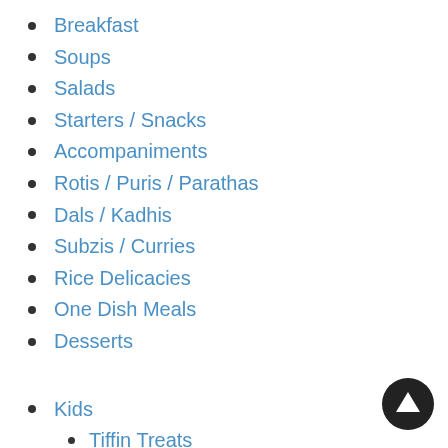Breakfast
Soups
Salads
Starters / Snacks
Accompaniments
Rotis / Puris / Parathas
Dals / Kadhis
Subzis / Curries
Rice Delicacies
One Dish Meals
Desserts
Kids
Tiffin Treats
Recipes for Baby (10 to 12 months)
Recipes for Weaning
Recipes for Weaning (7 to 9 months)
Tiffin Snacks